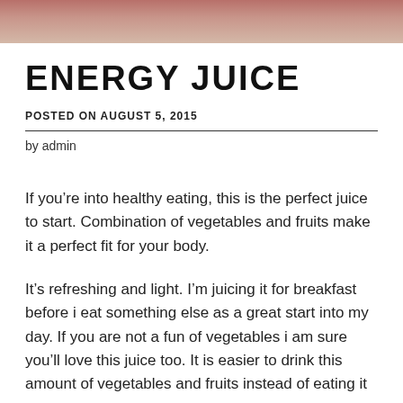[Figure (photo): Partial photo of a red/dark beverage (energy juice) at the top of the page, cropped]
ENERGY JUICE
POSTED ON AUGUST 5, 2015
by admin
If you’re into healthy eating, this is the perfect juice to start. Combination of vegetables and fruits make it a perfect fit for your body.
It’s refreshing and light. I’m juicing it for breakfast before i eat something else as a great start into my day. If you are not a fun of vegetables i am sure you’ll love this juice too. It is easier to drink this amount of vegetables and fruits instead of eating it